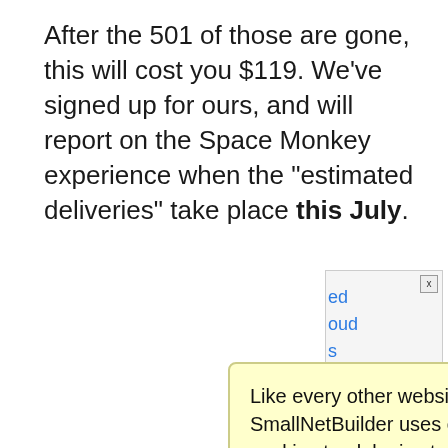After the 501 of those are gone, this will cost you $119. We've signed up for ours, and will report on the Space Monkey experience when the "estimated deliveries" take place this July.
[Figure (screenshot): Partially visible advertisement box with close button (x) in top right corner, showing truncated text links in blue]
Like every other website on the planet, SmallNetBuilder uses cookies. Our cookies track login status, but we only allow admins to log in anyway, so those don't apply to you. Any other cookies you pick up during your visit come from advertisers, which we don't control.
If you continue to use the site, you agree to tolerate our use of cookies. Thank you!